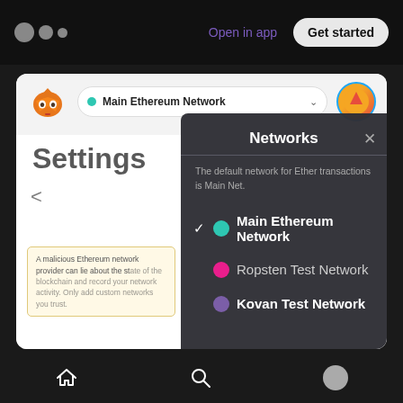Open in app  Get started
[Figure (screenshot): MetaMask browser extension screenshot showing a Networks selection overlay panel on top of a Settings page. The overlay lists Main Ethereum Network (selected with checkmark), Ropsten Test Network, and Kovan Test Network. Top bar shows MetaMask fox logo and 'Main Ethereum Network' pill with teal dot.]
Home  Search  Profile